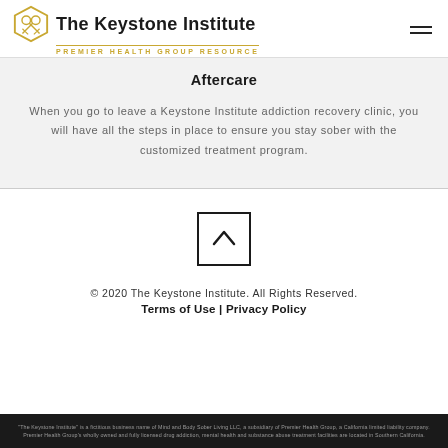[Figure (logo): The Keystone Institute logo with hexagon key icon and text 'The Keystone Institute / Premier Health Group Resource']
Aftercare
When you go to leave a Keystone Institute addiction recovery clinic, you will have all the steps in place to ensure you stay sober with the customized treatment program.
[Figure (other): Back to top button - square box with upward chevron arrow]
© 2020 The Keystone Institute. All Rights Reserved.
Terms of Use | Privacy Policy
"The Keystone Institute" is a fictitious business name of Mind and Body Sober Living LLC, a subsidiary of Premier Health Group, a California limited liability company. Premier Health Group's wholly owned and fully licensed drug addiction, mental health and substance abuse treatment facilities are located in Southern California.